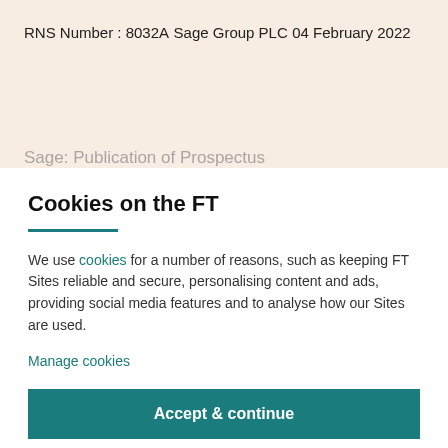RNS Number : 8032A
Sage Group PLC
04 February 2022
Sage: Publication of Prospectus
Cookies on the FT
We use cookies for a number of reasons, such as keeping FT Sites reliable and secure, personalising content and ads, providing social media features and to analyse how our Sites are used.
Manage cookies
Accept & continue